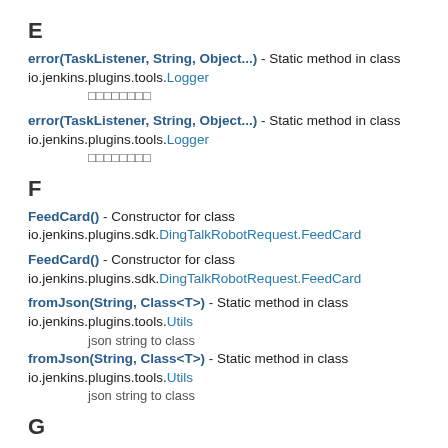E
error(TaskListener, String, Object...) - Static method in class io.jenkins.plugins.tools.Logger
[CJK characters]
error(TaskListener, String, Object...) - Static method in class io.jenkins.plugins.tools.Logger
[CJK characters]
F
FeedCard() - Constructor for class io.jenkins.plugins.sdk.DingTalkRobotRequest.FeedCard
FeedCard() - Constructor for class io.jenkins.plugins.sdk.DingTalkRobotRequest.FeedCard
fromJson(String, Class<T>) - Static method in class io.jenkins.plugins.tools.Utils
json string to class
fromJson(String, Class<T>) - Static method in class io.jenkins.plugins.tools.Utils
json string to class
G
GEEK_BLUE - Static variable in class